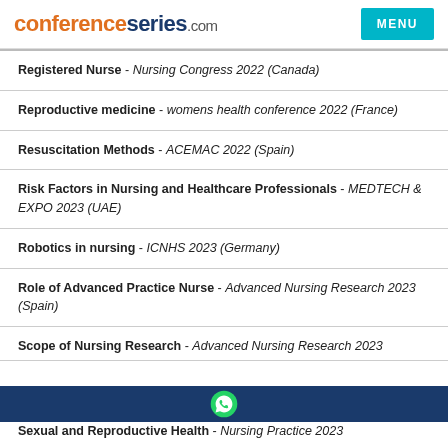conferenceseries.com  MENU
Registered Nurse - Nursing Congress 2022 (Canada)
Reproductive medicine - womens health conference 2022 (France)
Resuscitation Methods - ACEMAC 2022 (Spain)
Risk Factors in Nursing and Healthcare Professionals - MEDTECH & EXPO 2023 (UAE)
Robotics in nursing - ICNHS 2023 (Germany)
Role of Advanced Practice Nurse - Advanced Nursing Research 2023 (Spain)
Scope of Nursing Research - Advanced Nursing Research 2023
Sexual and Reproductive Health - Nursing Practice 2023